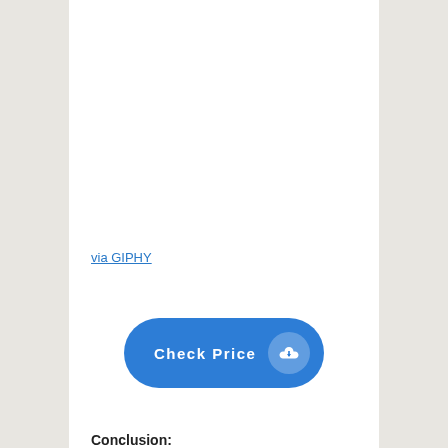via GIPHY
[Figure (other): Check Price button with download cloud icon, blue rounded rectangle button]
Conclusion: